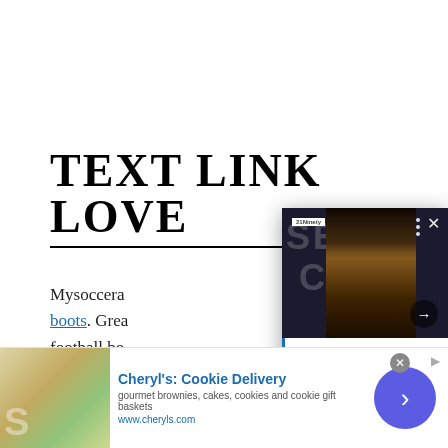TEXT LINK LOVE
Mysoccerau... boots. Grea... football boo... Floryday.co... de robe bla...
[Figure (screenshot): Popup card showing a woman at a House of Gucci event with headline '6 Life Lessons We Can All Learn From Savannah James - 21Ninety']
[Figure (screenshot): Advertisement bar for Cheryl's Cookie Delivery with image of baked goods and cookies]